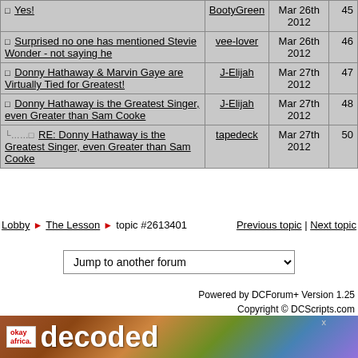|  | Author | Date | # |
| --- | --- | --- | --- |
| Yes! | BootyGreen | Mar 26th 2012 | 45 |
| Surprised no one has mentioned Stevie Wonder - not saying he | vee-lover | Mar 26th 2012 | 46 |
| Donny Hathaway & Marvin Gaye are Virtually Tied for Greatest! | J-Elijah | Mar 27th 2012 | 47 |
| Donny Hathaway is the Greatest Singer, even Greater than Sam Cooke | J-Elijah | Mar 27th 2012 | 48 |
| RE: Donny Hathaway is the Greatest Singer, even Greater than Sam Cooke | tapedeck | Mar 27th 2012 | 50 |
Lobby ► The Lesson ► topic #2613401   Previous topic | Next topic
Jump to another forum
Powered by DCForum+ Version 1.25
Copyright © DCScripts.com
[Figure (photo): Advertisement banner for 'decoded' by OkayAfrica with colorful mosaic background and a person's photo]